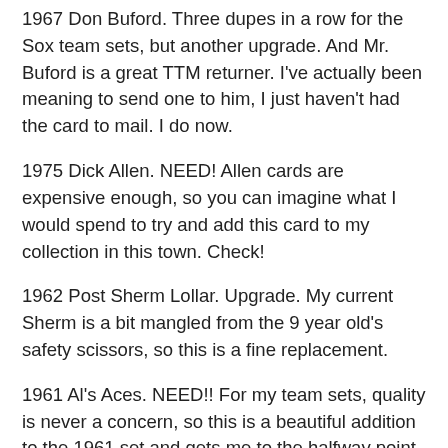1967 Don Buford. Three dupes in a row for the Sox team sets, but another upgrade. And Mr. Buford is a great TTM returner. I've actually been meaning to send one to him, I just haven't had the card to mail. I do now.
1975 Dick Allen. NEED! Allen cards are expensive enough, so you can imagine what I would spend to try and add this card to my collection in this town. Check!
1962 Post Sherm Lollar. Upgrade. My current Sherm is a bit mangled from the 9 year old's safety scissors, so this is a fine replacement.
1961 Al's Aces. NEED!! For my team sets, quality is never a concern, so this is a beautiful addition to the 1961 set and gets me to the halfway point of the set.
Nine cards. Two quarters of postage. And a page I can use to send to someone else.